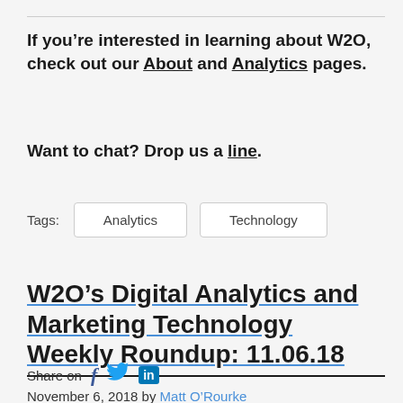If you’re interested in learning about W2O, check out our About and Analytics pages.
Want to chat? Drop us a line.
Tags:  Analytics  Technology
W2O’s Digital Analytics and Marketing Technology Weekly Roundup: 11.06.18
Share on  [Facebook] [Twitter] [LinkedIn]
November 6, 2018 by Matt O’Rourke